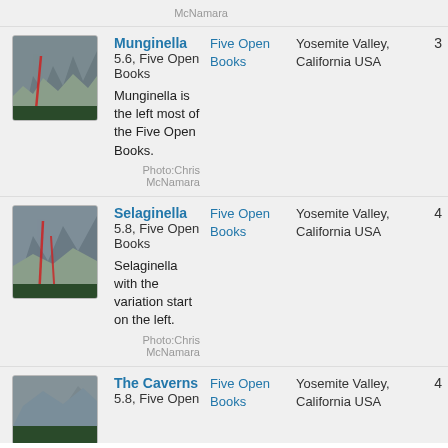| Image | Route | Area | Location | # |
| --- | --- | --- | --- | --- |
| [photo] | Munginella
5.6, Five Open Books
Munginella is the left most of the Five Open Books.
Photo:Chris McNamara | Five Open Books | Yosemite Valley, California USA | 3 |
| [photo] | Selaginella
5.8, Five Open Books
Selaginella with the variation start on the left.
Photo:Chris McNamara | Five Open Books | Yosemite Valley, California USA | 4 |
| [photo] | The Caverns
5.8, Five Open... | Five Open Books | Yosemite Valley, California USA | 4 |